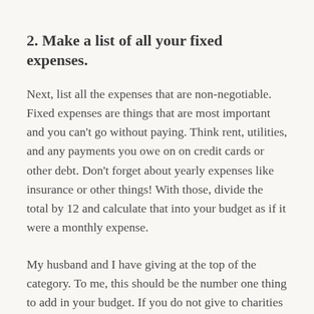2. Make a list of all your fixed expenses.
Next, list all the expenses that are non-negotiable. Fixed expenses are things that are most important and you can't go without paying. Think rent, utilities, and any payments you owe on on credit cards or other debt. Don't forget about yearly expenses like insurance or other things! With those, divide the total by 12 and calculate that into your budget as if it were a monthly expense.
My husband and I have giving at the top of the category. To me, this should be the number one thing to add in your budget. If you do not give to charities or other good things while you have less